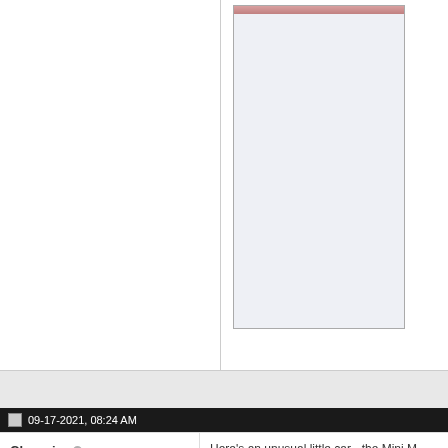[Figure (photo): Partial view of a forum post showing a large image panel on the right (light bluish-gray background with a pink/red toned image partially visible at the top), and a white left panel. The image appears to be a car photo.]
09-17-2021, 08:24 AM
Chaswin
Here's an unusual little car - the Mini M... motor/gearbox unit from a normal Mi...